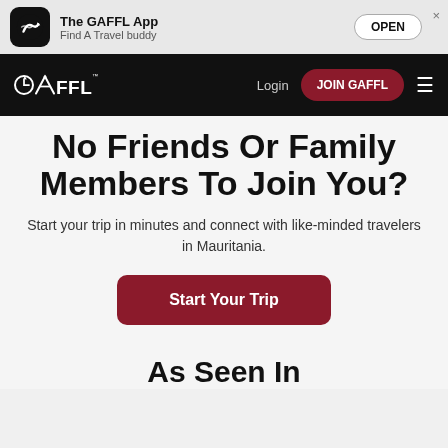The GAFFL App – Find A Travel buddy – OPEN
[Figure (screenshot): GAFFL navigation bar with logo, Login link, JOIN GAFFL button, and hamburger menu on black background]
No Friends Or Family Members To Join You?
Start your trip in minutes and connect with like-minded travelers in Mauritania.
Start Your Trip
As Seen In